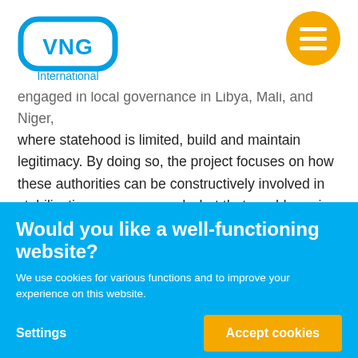[Figure (logo): VNG International logo — blue rounded rectangle with 'VNG' text and 'International' below]
engaged in local governance in Libya, Mali, and Niger, where statehood is limited, build and maintain legitimacy. By doing so, the project focuses on how these authorities can be constructively involved in stabilisation processes and what that would require in terms of engagement by the international community. The research thus aims to inform (inter)national interventions in these countries on the consequences
Would you like a well-functioning website?
We use cookies for various functions and to improve your experience on this website.
Settings
Accept cookies